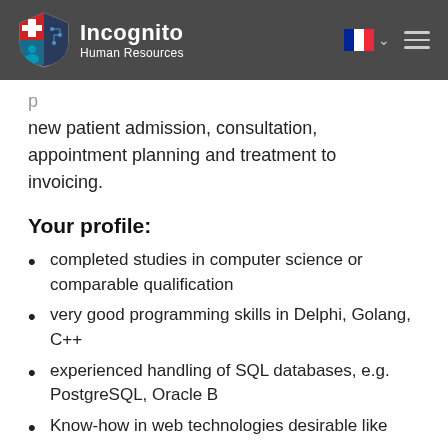Incognito Human Resources
new patient admission, consultation, appointment planning and treatment to invoicing.
Your profile:
completed studies in computer science or comparable qualification
very good programming skills in Delphi, Golang, C++
experienced handling of SQL databases, e.g. PostgreSQL, Oracle B
Know-how in web technologies desirable like